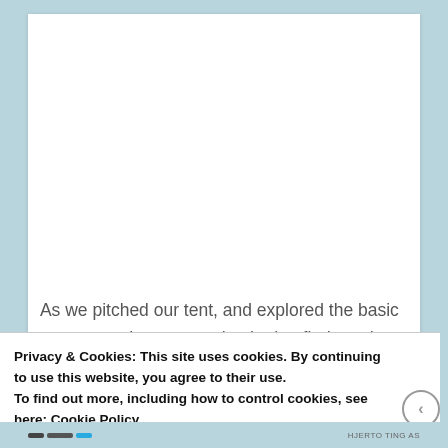As we pitched our tent, and explored the basic campground, we were shocked to find out that the water supply in the village had a brownish tinge. I did
Privacy & Cookies: This site uses cookies. By continuing to use this website, you agree to their use.
To find out more, including how to control cookies, see here: Cookie Policy
Close and accept